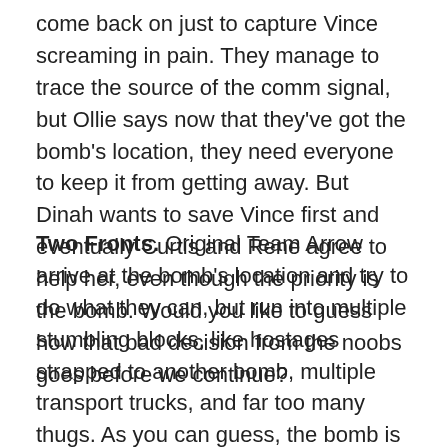come back on just to capture Vince screaming in pain. They manage to trace the source of the comm signal, but Ollie says now that they've got the bomb's location, they need everyone to keep it from getting away. But Dinah wants to save Vince first and eventually Curtis and Rene agree to help her, even though the priority is the bomb. Would you like to guess how that bad decision from the noobs goes before we continue?
Two Fronts. Original Team Arrow arrive at the bomb's location and try to do what they can, but run into multiple stumbling blocks, like hostages strapped to another bomb, multiple transport trucks, and far too many thugs. As you can guess, the bomb is taken away. At James' lair, the noobs arrive and free Vince, but learn his comms weren't turned on by him. Uh-oh. An explosion happens, pinning Dinah under debris and Vince seriously rattled from the